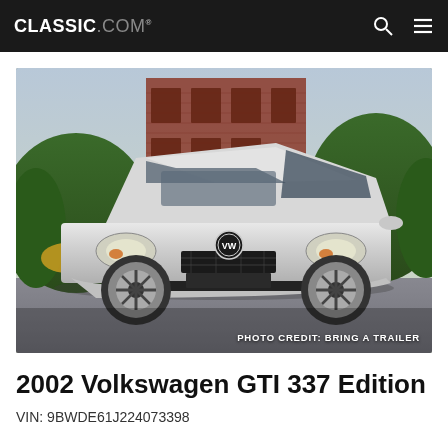CLASSIC.COM
[Figure (photo): Front three-quarter view of a silver 2002 Volkswagen GTI 337 Edition parked on a street with a red brick building and green hedges in the background. Photo credit: BRING A TRAILER]
2002 Volkswagen GTI 337 Edition
VIN: 9BWDE61J224073398